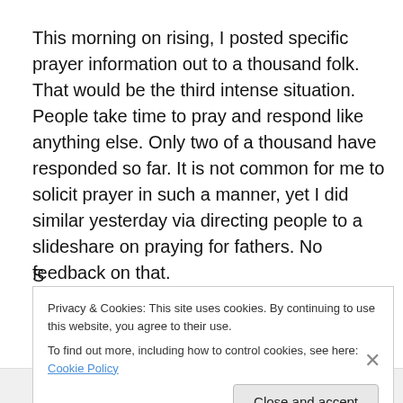This morning on rising, I posted specific prayer information out to a thousand folk. That would be the third intense situation. People take time to pray and respond like anything else. Only two of a thousand have responded so far. It is not common for me to solicit prayer in such a manner, yet I did similar yesterday via directing people to a slideshare on praying for fathers. No feedback on that.
Privacy & Cookies: This site uses cookies. By continuing to use this website, you agree to their use.
To find out more, including how to control cookies, see here: Cookie Policy